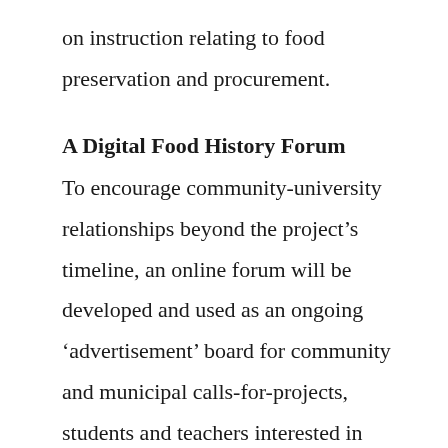on instruction relating to food preservation and procurement.
A Digital Food History Forum
To encourage community-university relationships beyond the project’s timeline, an online forum will be developed and used as an ongoing ‘advertisement’ board for community and municipal calls-for-projects, students and teachers interested in conducting historical research alike. In addition, the website will host various